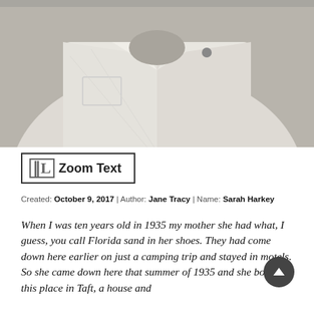[Figure (photo): Black and white cropped photograph showing a person's torso/chest area wearing a white button-up shirt with an open collar. The image is cut off at the top (no face visible) and bottom.]
[Figure (screenshot): Zoom Text button/widget with a bold 'L' icon in a bordered box and the text 'Zoom Text' next to it]
Created: October 9, 2017 | Author: Jane Tracy | Name: Sarah Harkey
When I was ten years old in 1935 my mother she had what, I guess, you call Florida sand in her shoes. They had come down here earlier on just a camping trip and stayed in motels. So she came down here that summer of 1935 and she bought this place in Taft, a house and